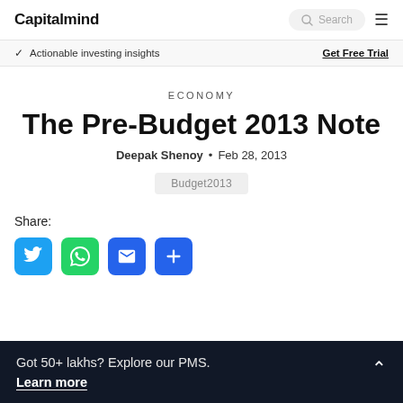Capitalmind
Actionable investing insights  Get Free Trial
ECONOMY
The Pre-Budget 2013 Note
Deepak Shenoy • Feb 28, 2013
Budget2013
Share:
Got 50+ lakhs? Explore our PMS. Learn more